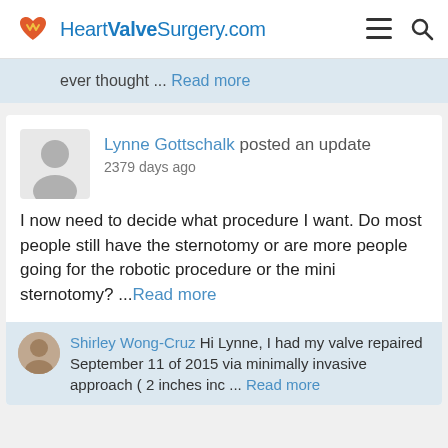HeartValveSurgery.com
ever thought ... Read more
Lynne Gottschalk posted an update
2379 days ago
I now need to decide what procedure I want. Do most people still have the sternotomy or are more people going for the robotic procedure or the mini sternotomy? ...Read more
Shirley Wong-Cruz Hi Lynne, I had my valve repaired September 11 of 2015 via minimally invasive approach ( 2 inches inc ... Read more